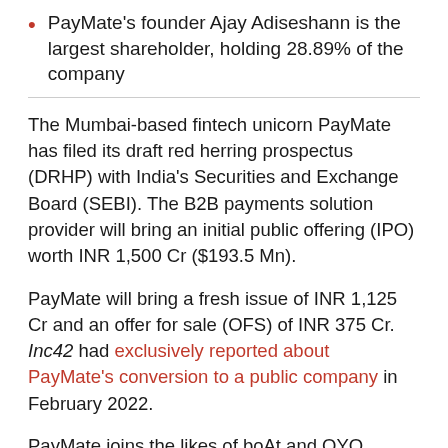PayMate's founder Ajay Adiseshann is the largest shareholder, holding 28.89% of the company
The Mumbai-based fintech unicorn PayMate has filed its draft red herring prospectus (DRHP) with India's Securities and Exchange Board (SEBI). The B2B payments solution provider will bring an initial public offering (IPO) worth INR 1,500 Cr ($193.5 Mn).
PayMate will bring a fresh issue of INR 1,125 Cr and an offer for sale (OFS) of INR 375 Cr. Inc42 had exclusively reported about PayMate's conversion to a public company in February 2022.
PayMate joins the likes of boAt and OYO, among others, that have filed a DRHP and are currently waiting to go public. Among fintechs, the Mumbai-based unicorn joins the likes of Paytm, Fino Payments Bank, MobiKwik, EbixCash and Pine Labs to have either listed